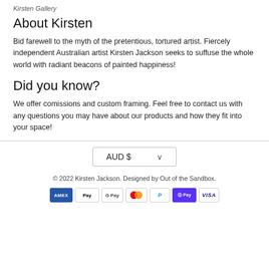Kirsten Gallery
About Kirsten
Bid farewell to the myth of the pretentious, tortured artist. Fiercely independent Australian artist Kirsten Jackson seeks to suffuse the whole world with radiant beacons of painted happiness!
Did you know?
We offer comissions and custom framing. Feel free to contact us with any questions you may have about our products and how they fit into your space!
AUD $ ⌄
© 2022 Kirsten Jackson. Designed by Out of the Sandbox.
AMEX | Apple Pay | G Pay | Mastercard | PayPal | Shop Pay | VISA